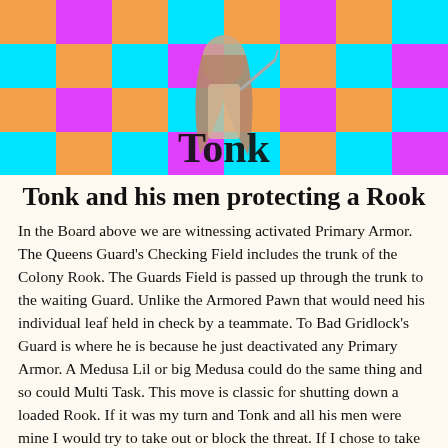[Figure (illustration): Colorful checkerboard banner image with orange, magenta/pink, and cyan squares arranged in a chess-board pattern. A figure (person with long hair) stands in the center, and the word 'Tonk' is displayed in large serif text over the pattern.]
Tonk and his men protecting a Rook
In the Board above we are witnessing activated Primary Armor. The Queens Guard's Checking Field includes the trunk of the Colony Rook. The Guards Field is passed up through the trunk to the waiting Guard. Unlike the Armored Pawn that would need his individual leaf held in check by a teammate. To Bad Gridlock's Guard is where he is because he just deactivated any Primary Armor. A Medusa Lil or big Medusa could do the same thing and so could Multi Task. This move is classic for shutting down a loaded Rook. If it was my turn and Tonk and all his men were mine I would try to take out or block the threat. If I chose to take it out I had better have the Field Strength of seven for Tonks men. Otherwise I would just have to move a Queens Guard to intercept the Gridlock's Guards Field. Only then would the Colony